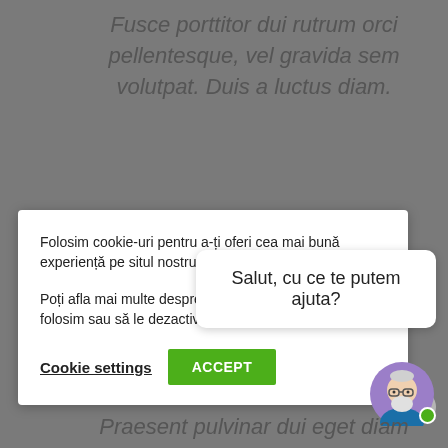Fusce porttitor dui rutrum orci pellentesque, vel gravida sem volutpat. Duis a luctus diam.
Folosim cookie-uri pentru a-ți oferi cea mai bună experiență pe situl nostru web.
Poți afla mai multe despre cookie-urile pe care le folosim sau să le dezactivezi în setări.
Cookie settings
ACCEPT
Salut, cu ce te putem ajuta?
[Figure (illustration): Avatar of a person with white beard and glasses, wearing a blue shirt, with a purple/lavender background circle]
Praesent pulvinar dui eget diam